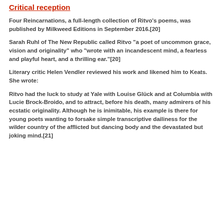Critical reception
Four Reincarnations, a full-length collection of Ritvo's poems, was published by Milkweed Editions in September 2016.[20]
Sarah Ruhl of The New Republic called Ritvo "a poet of uncommon grace, vision and originality" who "wrote with an incandescent mind, a fearless and playful heart, and a thrilling ear."[20]
Literary critic Helen Vendler reviewed his work and likened him to Keats. She wrote:
Ritvo had the luck to study at Yale with Louise Glück and at Columbia with Lucie Brock-Broido, and to attract, before his death, many admirers of his ecstatic originality. Although he is inimitable, his example is there for young poets wanting to forsake simple transcriptive dailiness for the wilder country of the afflicted but dancing body and the devastated but joking mind.[21]